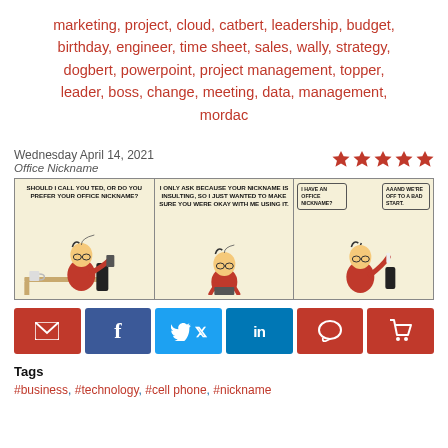marketing, project, cloud, catbert, leadership, budget, birthday, engineer, time sheet, sales, wally, strategy, dogbert, powerpoint, project management, topper, leader, boss, change, meeting, data, management, mordac
Wednesday April 14, 2021
Office Nickname
[Figure (illustration): Dilbert comic strip titled 'Office Nickname' - three panels showing Dilbert and a colleague. Panel 1: Dilbert at desk says 'Should I call you Ted, or do you prefer your office nickname?' Panel 2: 'I only ask because your nickname is insulting, so I just wanted to make sure you were okay with me using it.' Panel 3: 'I have an office nickname? Aaand we're off to a bad start.']
Social sharing buttons: email, facebook, twitter, linkedin, comment, cart
Tags
#business, #technology, #cell phone, #nickname